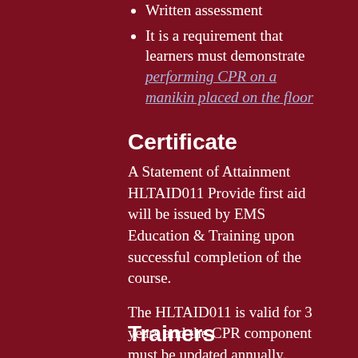Written assessment
It is a requirement that learners must demonstrate performing CPR on a manikin placed on the floor
Certificate
A Statement of Attainment HLTAID011 Provide first aid will be issued by EMS Education & Training upon successful completion of the course.
The HLTAID011 is valid for 3 years and the CPR component must be updated annually.
Trainers